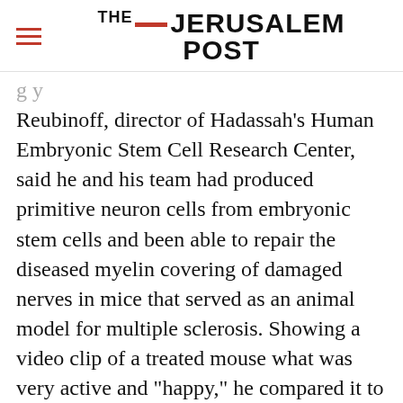THE JERUSALEM POST
Reubinoff, director of Hadassah's Human Embryonic Stem Cell Research Center, said he and his team had produced primitive neuron cells from embryonic stem cells and been able to repair the diseased myelin covering of damaged nerves in mice that served as an animal model for multiple sclerosis. Showing a video clip of a treated mouse what was very active and "happy," he compared it to an untreated mouse that was
Advertisement